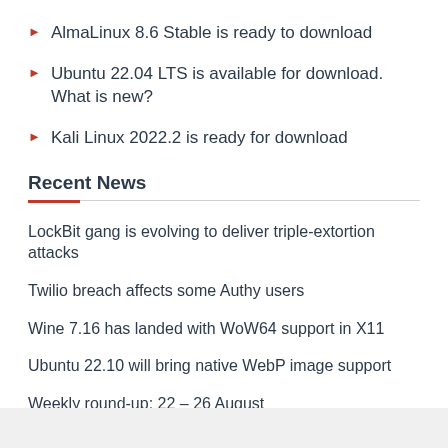AlmaLinux 8.6 Stable is ready to download
Ubuntu 22.04 LTS is available for download. What is new?
Kali Linux 2022.2 is ready for download
Recent News
LockBit gang is evolving to deliver triple-extortion attacks
Twilio breach affects some Authy users
Wine 7.16 has landed with WoW64 support in X11
Ubuntu 22.10 will bring native WebP image support
Weekly round-up: 22 – 26 August